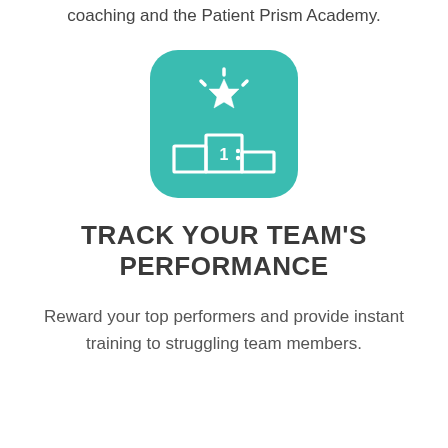coaching and the Patient Prism Academy.
[Figure (illustration): Teal rounded-square icon with a white trophy podium showing '1' in the center block and a shining star above it]
TRACK YOUR TEAM'S PERFORMANCE
Reward your top performers and provide instant training to struggling team members.